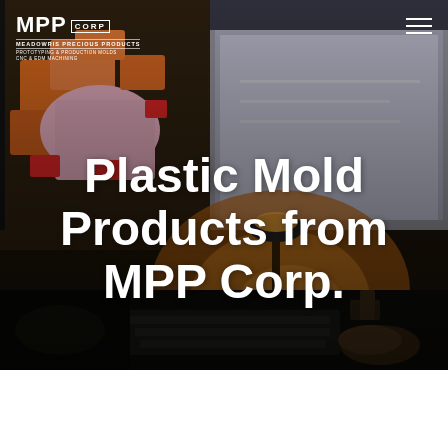[Figure (photo): Full-width hero image showing a dual-monitor workstation setup. Left monitor displays a 3D CAD model of orange and pink plastic mold parts. Right monitor shows a lighter screen. In the foreground, a person's hands are typing on a keyboard, with a warm glowing desk lamp illuminating the scene. Dark overall mood with warm amber tones in the lower half.]
MPP CORP — MEADOWRIS PRECIOUS PRODUCTS — PROTOTYPING & PRODUCTION MOLDS — CNC & EDM MACHINING
Plastic Mold Products from MPP Corp.